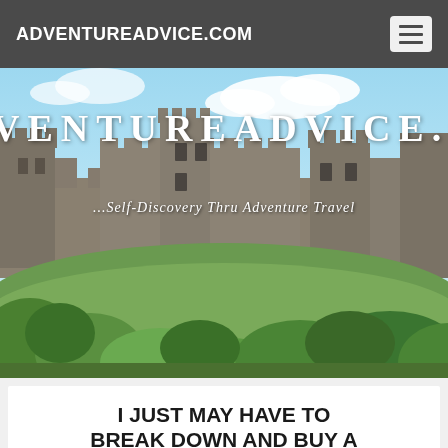ADVENTUREADVICE.COM
[Figure (photo): Hero banner image of a medieval castle (Carcassonne) with stone walls and towers against a blue sky with clouds, green foliage in the foreground. Overlaid with large white text 'ADVENTUREADVICE.C' and italic tagline '...Self-Discovery Thru Adventure Travel']
I JUST MAY HAVE TO BREAK DOWN AND BUY A SMARTPHONE